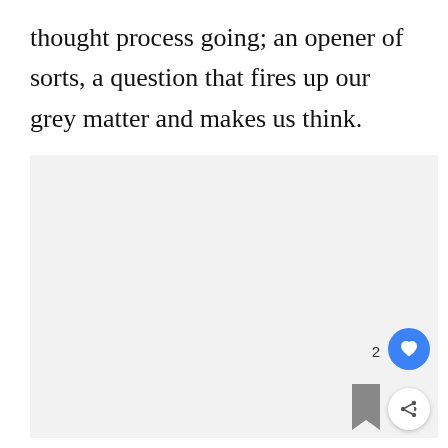thought process going; an opener of sorts, a question that fires up our grey matter and makes us think.
[Figure (other): Large light grey rectangular placeholder area occupying the lower two-thirds of the page, with UI overlay elements: a blue circular heart/like button, a share button, a bookmark icon, and a count of 2.]